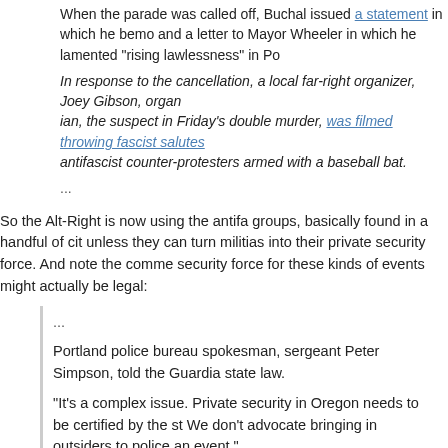When the parade was called off, Buchal issued a statement in which he bemo... and a letter to Mayor Wheeler in which he lamented “rising lawlessness” in Po...
In response to the cancellation, a local far-right organizer, Joey Gibson, organ... ian, the suspect in Friday’s double murder, was filmed throwing fascist salutes antifascist counter-protesters armed with a baseball bat.
...
So the Alt-Right is now using the antifa groups, basically found in a handful of cit... unless they can turn militias into their private security force. And note the comme... security force for these kinds of events might actually be legal:
...
Portland police bureau spokesman, sergeant Peter Simpson, told the Guardia... state law.

“It’s a complex issue. Private security in Oregon needs to be certified by the st... We don’t advocate bringing in outsiders to police an event.”
...
This could happen. And it’s currently being proposed by the top GOPer in Portla... who confronted him during his hate speech attack on two strangers.
POSTED BY PTERRAFRACTYL | MAY 30, 2017, 3:14 PM
Donald Trump predictably pushed the United States one step further down the a...